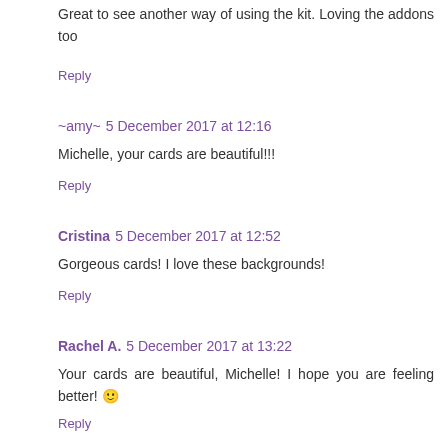Great to see another way of using the kit. Loving the addons too
Reply
~amy~ 5 December 2017 at 12:16
Michelle, your cards are beautiful!!!
Reply
Cristina 5 December 2017 at 12:52
Gorgeous cards! I love these backgrounds!
Reply
Rachel A. 5 December 2017 at 13:22
Your cards are beautiful, Michelle! I hope you are feeling better! 🙂
Reply